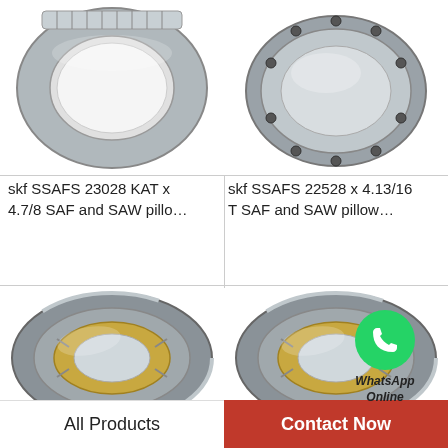[Figure (photo): SKF SSAFS 23028 KAT x 4.7/8 bearing ring, top view, silver metallic, top-left quadrant]
[Figure (photo): SKF SSAFS 22528 x 4.13/16 T bearing race ring, top view, silver metallic, top-right quadrant]
skf SSAFS 23028 KAT x 4.7/8 SAF and SAW pillo…
skf SSAFS 22528 x 4.13/16 T SAF and SAW pillow…
[Figure (photo): SKF FSAF 1613 x 2.1/8 TLC spherical roller bearing, silver and gold tones, bottom-left quadrant]
[Figure (photo): SKF SAF 22622 x 3.13/16 spherical roller bearing with WhatsApp Online overlay, bottom-right quadrant]
skf FSAF 1613 x 2.1/8 TLC
skf SAF 22622 x 3.13/16
All Products   Contact Now